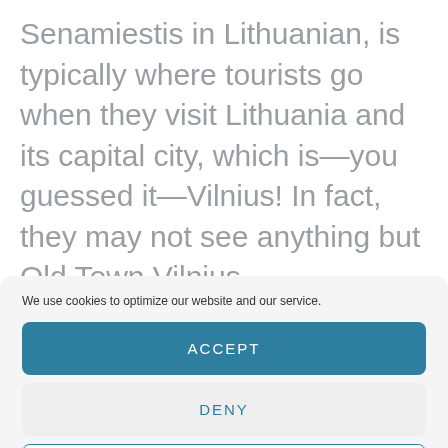Senamiestis in Lithuanian, is typically where tourists go when they visit Lithuania and its capital city, which is—you guessed it—Vilnius! In fact, they may not see anything but Old Town Vilnius
We use cookies to optimize our website and our service.
ACCEPT
DENY
PREFERENCES
Cookie Policy  Privacy Policy